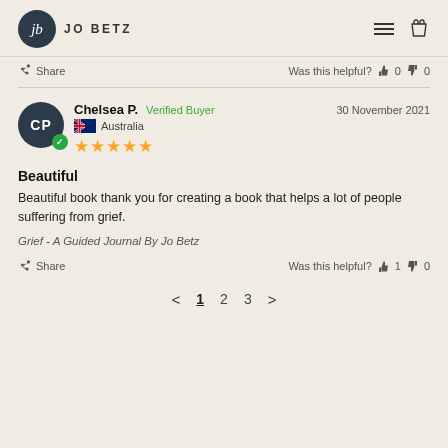JO BETZ
Share  Was this helpful? 0  0
Chelsea P.  Verified Buyer  30 November 2021  Australia  ★★★★★
Beautiful
Beautiful book thank you for creating a book that helps a lot of people suffering from grief.
Grief - A Guided Journal By Jo Betz
Share  Was this helpful? 1  0
< 1 2 3 >